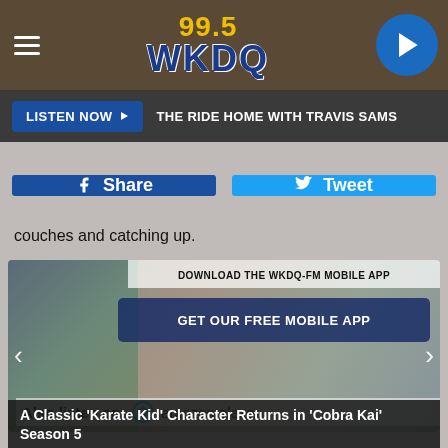99.5 WKDQ
LISTEN NOW ▶   THE RIDE HOME WITH TRAVIS SAMS
f Share    🐦 Tweet
couches and catching up.
[Figure (screenshot): App download promotional banner with 'DOWNLOAD THE WKDQ-FM MOBILE APP' and 'GET OUR FREE MOBILE APP' button, carousel with left/right arrows, 'Also listen on: amazon alexa' at bottom, set over group photo background]
A Classic 'Karate Kid' Character Returns in 'Cobra Kai' Season 5